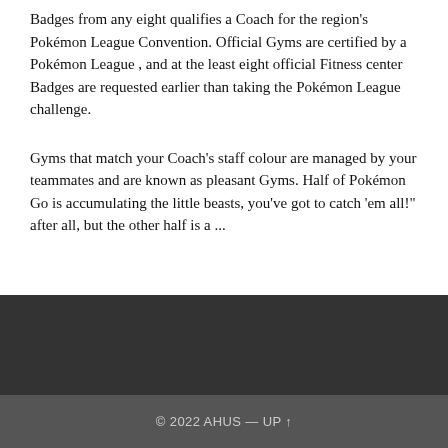Badges from any eight qualifies a Coach for the region's Pokémon League Convention. Official Gyms are certified by a Pokémon League , and at the least eight official Fitness center Badges are requested earlier than taking the Pokémon League challenge.
Gyms that match your Coach's staff colour are managed by your teammates and are known as pleasant Gyms. Half of Pokémon Go is accumulating the little beasts, you've got to catch 'em all!" after all, but the other half is a ...
© 2022 AHUS — UP ↑